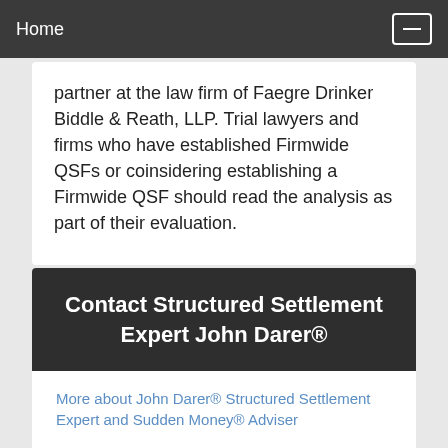Home
partner at the law firm of Faegre Drinker Biddle & Reath, LLP. Trial lawyers and firms who have established Firmwide QSFs or coinsidering establishing a Firmwide QSF should read the analysis as part of their evaluation.
Contact Structured Settlement Expert John Darer®
More about John Darer® Structured Settlement Expert and Sudden Money® Adviser
How To Make Comments...I Enjoy Hearing From Readers